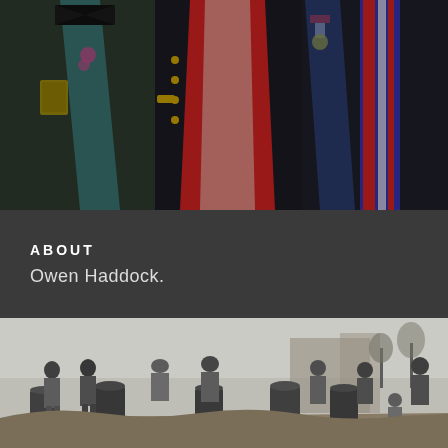[Figure (photo): Color photograph of three men in formal military or ceremonial dress uniforms with medals, badges, and decorative sashes/ties, photographed from chest down.]
ABOUT
Owen Haddock.
[Figure (photo): Black and white photograph of a group of approximately 10-12 soldiers or workers standing near large metal barrels/drums in an outdoor field setting. A stone or brick structure is visible in the background.]